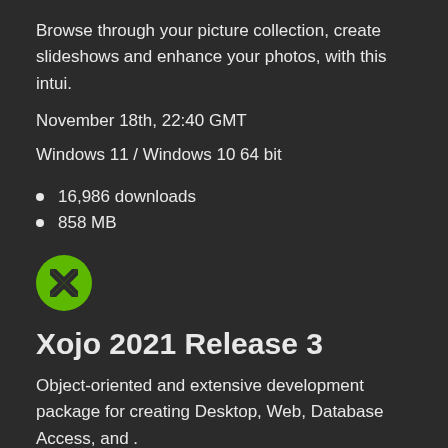Browse through your picture collection, create slideshows and enhance your photos, with this intui.
November 18th, 22:40 GMT
Windows 11 / Windows 10 64 bit
16,986 downloads
858 MB
[Figure (logo): Green circular Xojo logo icon with X shape]
Xojo 2021 Release 3
Object-oriented and extensive development package for creating Desktop, Web, Database Access, and .